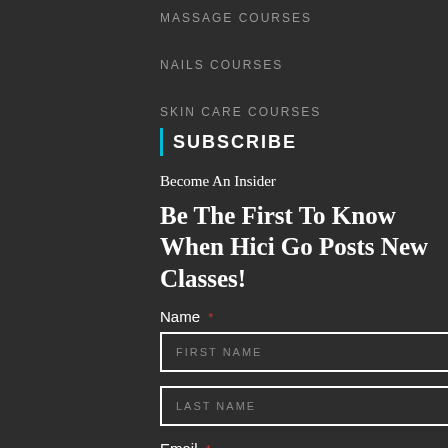MASSAGE COURSES
NAILS COURSES
SKIN CARE COURSES
SUBSCRIBE
Become An Insider
Be The First To Know When Hici Go Posts New Classes!
Name *
FIRST NAME
LAST NAME
Email *
EMAIL